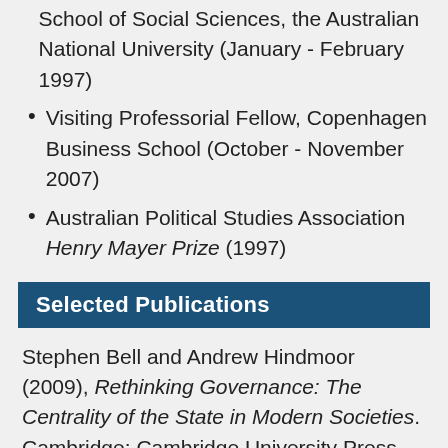School of Social Sciences, the Australian National University (January - February 1997)
Visiting Professorial Fellow, Copenhagen Business School (October - November 2007)
Australian Political Studies Association Henry Mayer Prize (1997)
Selected Publications
Stephen Bell and Andrew Hindmoor (2009), Rethinking Governance: The Centrality of the State in Modern Societies. Cambridge: Cambridge University Press